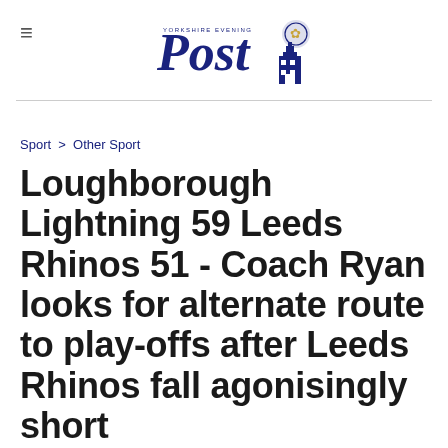Yorkshire Evening Post
Sport > Other Sport
Loughborough Lightning 59 Leeds Rhinos 51 - Coach Ryan looks for alternate route to play-offs after Leeds Rhinos fall agonisingly short